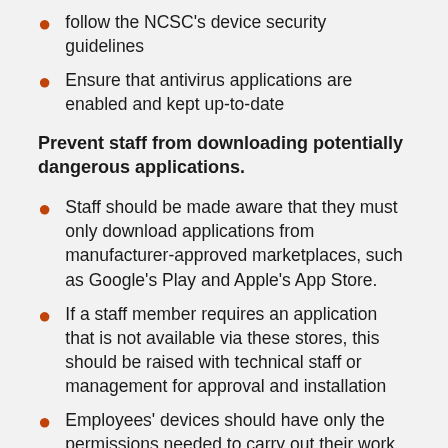follow the NCSC's device security guidelines
Ensure that antivirus applications are enabled and kept up-to-date
Prevent staff from downloading potentially dangerous applications.
Staff should be made aware that they must only download applications from manufacturer-approved marketplaces, such as Google's Play and Apple's App Store.
If a staff member requires an application that is not available via these stores, this should be raised with technical staff or management for approval and installation
Employees' devices should have only the permissions needed to carry out their work. Administrator-level accounts should only be accessible by those staff responsible for